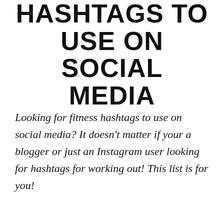HASHTAGS TO USE ON SOCIAL MEDIA
Looking for fitness hashtags to use on social media? It doesn't matter if your a blogger or just an Instagram user looking for hashtags for working out! This list is for you!